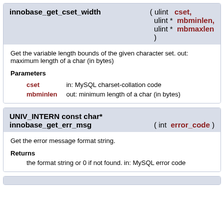innobase_get_cset_width ( ulint cset, ulint * mbminlen, ulint * mbmaxlen )
Get the variable length bounds of the given character set. out: maximum length of a char (in bytes)
Parameters
cset: in: MySQL charset-collation code
mbminlen: out: minimum length of a char (in bytes)
UNIV_INTERN const char* innobase_get_err_msg ( int error_code )
Get the error message format string.
Returns
the format string or 0 if not found. in: MySQL error code